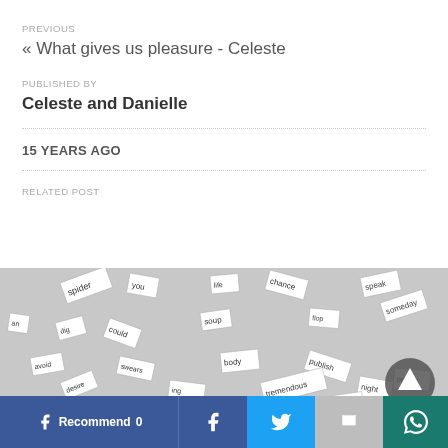PREVIOUS
« What gives us pleasure - Celeste
PUBLISHED BY
Celeste and Danielle
15 YEARS AGO
RELATED POST
[Figure (photo): Overhead view of scattered white word tiles/cards with black printed words including 'spider', 'you', 'life', 'chance', 'soup', 'dig', 'could', 'publish', 'tremendous', 'story', 'desire', 'night', 'perfect', 'body', etc. arranged randomly at various angles.]
Recommend 0